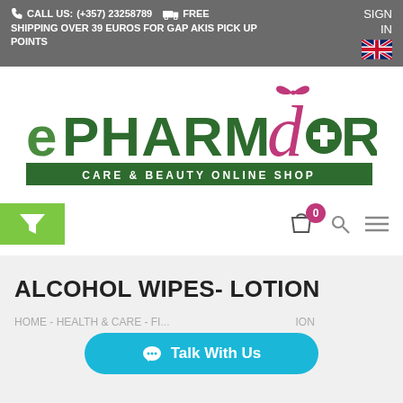CALL US: (+357) 23258789   FREE SHIPPING OVER 39 EUROS FOR GAP AKIS PICK UP POINTS    SIGN IN
[Figure (logo): ePHARMADORA - Care & Beauty Online Shop logo with pink decorative d and green pharmacy cross]
[Figure (infographic): Navigation row with green filter button (funnel icon), shopping bag icon with 0 badge, search icon, and menu icon]
ALCOHOL WIPES- LOTION
HOME - HEALTH & CARE - FI... ION
[Figure (other): Talk With Us chat button in teal/blue rounded pill shape]